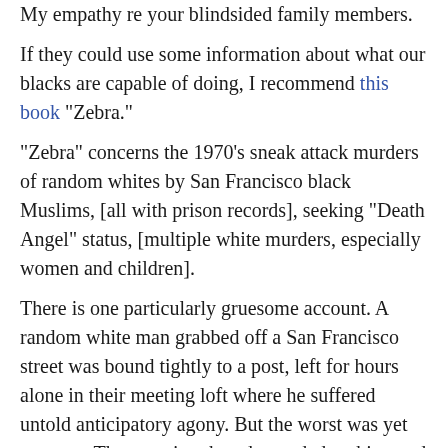My empathy re your blindsided family members. If they could use some information about what our blacks are capable of doing, I recommend this book "Zebra." "Zebra" concerns the 1970's sneak attack murders of random whites by San Francisco black Muslims, [all with prison records], seeking "Death Angel" status, [multiple white murders, especially women and children]. There is one particularly gruesome account. A random white man grabbed off a San Francisco street was bound tightly to a post, left for hours alone in their meeting loft where he suffered untold anticipatory agony. But the worst was yet to come. That evening they descended on him, and one by one, using cleavers as the African Muslim in London used on the British soldier, commenced cutting bits of his body away, one bit at a time. There was great joy among them as they carried out this hideous deed. His dead body was bagged and thrown in the bay. The Zebra files are not closed, not all the murders were solved, but law enforcement and San Franciscans are silent. Down the memory hole it went. These kinds of cowardly savages live amongst us, daily.